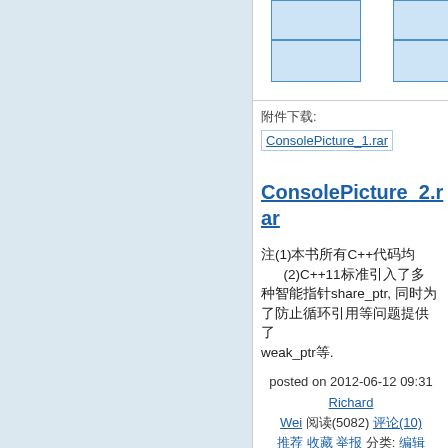[Figure (other): Partial table with blue-bordered cells visible at top of right panel]
附件下载:
ConsolePicture_1.rar
ConsolePicture_2.rar
注(1)本书所有C++代码均
      (2)C++11标准引入了多
种智能指针share_ptr, 同时为
了防止循环引用等问题提供了
weak_ptr等.
posted on 2012-06-12 09:31 Richard Wei 阅读(5082) 评论(10)
推荐 收藏 举报 分类: 编辑